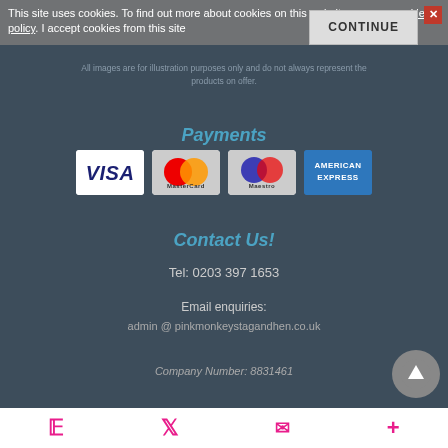This site uses cookies. To find out more about cookies on this website, see our cookies policy. I accept cookies from this site
All images are for illustration purposes only and do not always represent the products on offer.
Payments
[Figure (logo): Payment method logos: Visa, MasterCard, Maestro, American Express]
Contact Us!
Tel: 0203 397 1653
Email enquiries:
admin @ pinkmonkeystagandhen.co.uk
Company Number: 8831461
Facebook  Twitter  Email  Plus